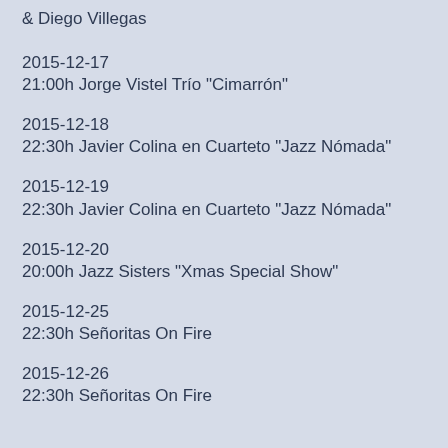& Diego Villegas
2015-12-17
21:00h Jorge Vistel Trío "Cimarrón"
2015-12-18
22:30h Javier Colina en Cuarteto "Jazz Nómada"
2015-12-19
22:30h Javier Colina en Cuarteto "Jazz Nómada"
2015-12-20
20:00h Jazz Sisters "Xmas Special Show"
2015-12-25
22:30h Señoritas On Fire
2015-12-26
22:30h Señoritas On Fire